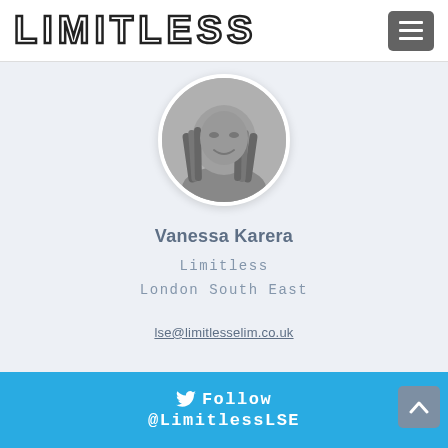LIMITLESS
[Figure (photo): Circular black and white portrait photo of Vanessa Karera, a woman with braided hair, smiling]
Vanessa Karera
Limitless
London South East
lse@limitlesselim.co.uk
Follow @LimitlessLSE